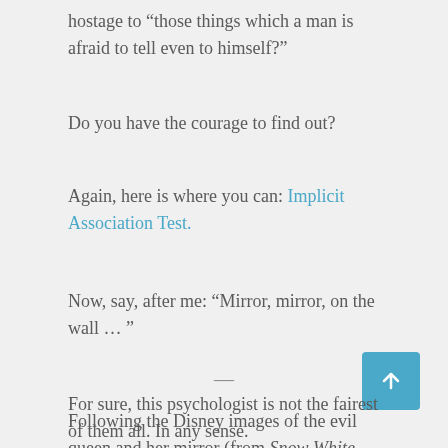hostage to “those things which a man is afraid to tell even to himself?”
Do you have the courage to find out?
Again, here is where you can: Implicit Association Test.
Now, say, after me: “Mirror, mirror, on the wall … ”
For sure, this psychologist is not the fairest of them all. In any sense.
—
Following the Disney images of the evil queen and her mirror (from Snow White and the Seven Dwarfs)